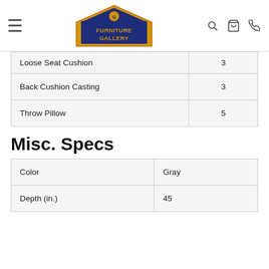Furniture Gallery
| Feature | Value |
| --- | --- |
| Loose Seat Cushion | 3 |
| Back Cushion Casting | 3 |
| Throw Pillow | 5 |
Misc. Specs
| Spec | Value |
| --- | --- |
| Color | Gray |
| Depth (in.) | 45 |